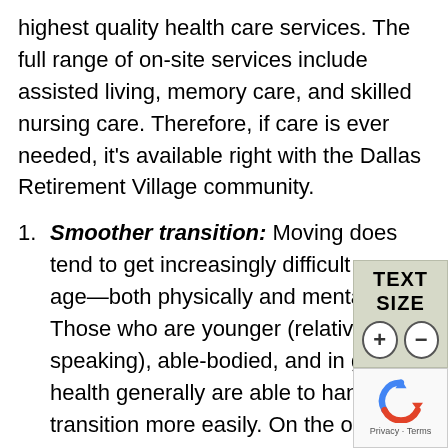highest quality health care services. The full range of on-site services include assisted living, memory care, and skilled nursing care. Therefore, if care is ever needed, it’s available right with the Dallas Retirement Village community.
Smoother transition: Moving does tend to get increasingly difficult as we age—both physically and mentally. Those who are younger (relatively speaking), able-bodied, and in good health generally are able to handle the transition more easily. On the other hand, those who are older and frailer when they make a move may be more likely to experience relocation stress syndrome (RSS), a condition characterized symptoms like anxiety, confusion, and loneliness.